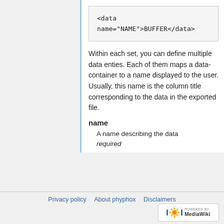<data name="NAME">BUFFER</data>
Within each set, you can define multiple data enties. Each of them maps a data-container to a name displayed to the user. Usually, this name is the column title corresponding to the data in the exported file.
name
A name describing the data
required
Privacy policy   About phyphox   Disclaimers